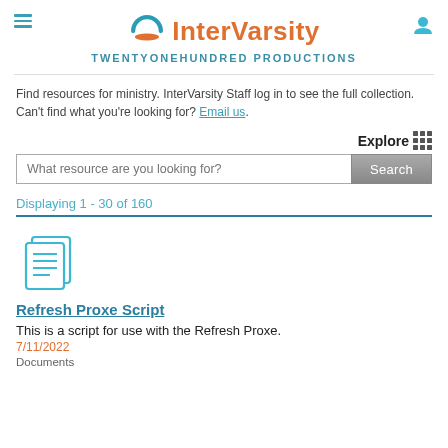[Figure (logo): InterVarsity logo with teal arc/open book icon and orange InterVarsity text]
TWENTYONEHUNDRED PRODUCTIONS
Find resources for ministry. InterVarsity Staff log in to see the full collection. Can't find what you're looking for? Email us.
Explore
What resource are you looking for?
Displaying 1 - 30 of 160
[Figure (illustration): Document/pages icon with teal outline]
Refresh Proxe Script
This is a script for use with the Refresh Proxe.
7/11/2022
Documents